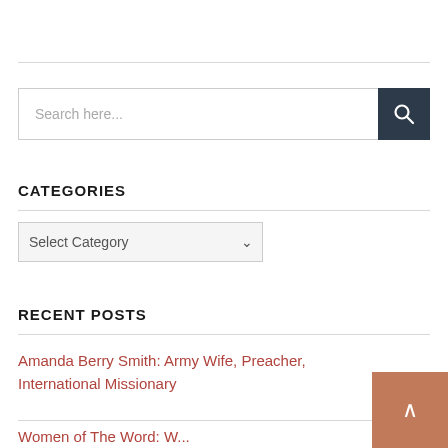Search here...
CATEGORIES
Select Category
RECENT POSTS
Amanda Berry Smith: Army Wife, Preacher, International Missionary
Women of The Word: W...